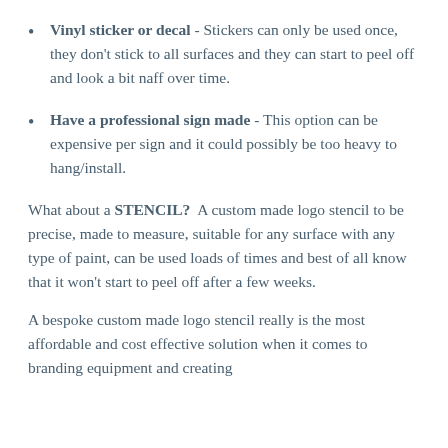Vinyl sticker or decal - Stickers can only be used once, they don't stick to all surfaces and they can start to peel off and look a bit naff over time.
Have a professional sign made - This option can be expensive per sign and it could possibly be too heavy to hang/install.
What about a STENCIL? A custom made logo stencil to be precise, made to measure, suitable for any surface with any type of paint, can be used loads of times and best of all know that it won't start to peel off after a few weeks.
A bespoke custom made logo stencil really is the most affordable and cost effective solution when it comes to branding equipment and creating